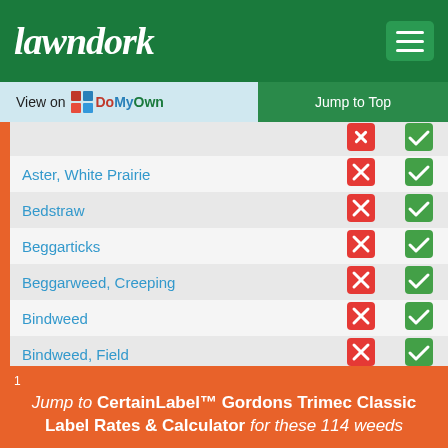lawndork
View on DoMyOwn   Jump to Top
| Weed | X | ✓ |
| --- | --- | --- |
| Aster, White Prairie | ✗ | ✓ |
| Bedstraw | ✗ | ✓ |
| Beggarticks | ✗ | ✓ |
| Beggarweed, Creeping | ✗ | ✓ |
| Bindweed | ✗ | ✓ |
| Bindweed, Field | ✗ | ✓ |
| Birdsfoot Trefoil | ✗ | ✓ |
| Bittercress, Hairy | ✗ | ✓ |
| Black Medic | ✗ | ✓ |
| Blue-Eyed Mary | ✗ | ✓ |
1 Jump to CertainLabel™ Gordons Trimec Classic Label Rates & Calculator for these 114 weeds